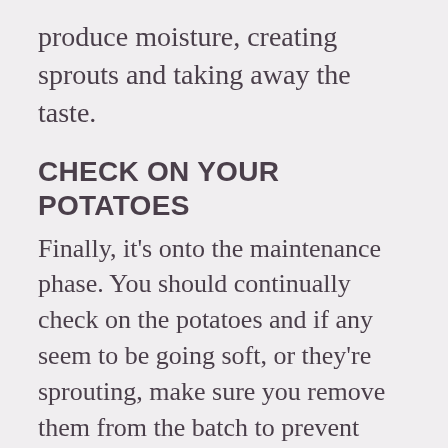produce moisture, creating sprouts and taking away the taste.
CHECK ON YOUR POTATOES
Finally, it's onto the maintenance phase. You should continually check on the potatoes and if any seem to be going soft, or they're sprouting, make sure you remove them from the batch to prevent others going bad. A quick reminder – sprouting potatoes can still be eaten and enjoyed! Just make sure they're still fresh on the inside!
That's our guide to keeping those